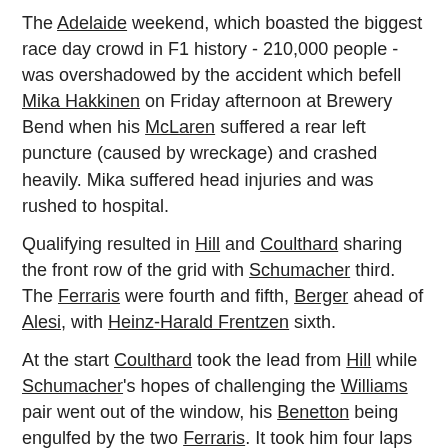The Adelaide weekend, which boasted the biggest race day crowd in F1 history - 210,000 people - was overshadowed by the accident which befell Mika Hakkinen on Friday afternoon at Brewery Bend when his McLaren suffered a rear left puncture (caused by wreckage) and crashed heavily. Mika suffered head injuries and was rushed to hospital.
Qualifying resulted in Hill and Coulthard sharing the front row of the grid with Schumacher third. The Ferraris were fourth and fifth, Berger ahead of Alesi, with Heinz-Harald Frentzen sixth.
At the start Coulthard took the lead from Hill while Schumacher's hopes of challenging the Williams pair went out of the window, his Benetton being engulfed by the two Ferraris. It took him four laps to pass Alesi and then Berger and his tyres were shot by the time he had and he could not challenge Coulthard and Hill.
At the first pit stops Coulthard came into the tight pitlane entry too fast and ran into the pitwall. His race was over.
Schumacher and Alesi collided after their pit stops and